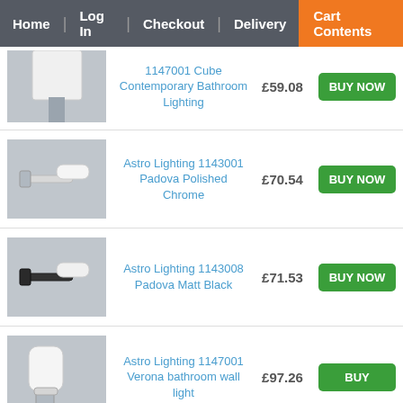Home | Log In | Checkout | Delivery | Cart Contents
[Figure (photo): Partial product image of a bathroom lighting fixture (top cut off), light colored square shade]
1147001 Cube Contemporary Bathroom Lighting
£59.08
BUY NOW
[Figure (photo): Astro Lighting Padova Polished Chrome bathroom wall light with cylindrical white shade on chrome arm]
Astro Lighting 1143001 Padova Polished Chrome
£70.54
BUY NOW
[Figure (photo): Astro Lighting Padova Matt Black bathroom wall light with cylindrical white shade on black arm]
Astro Lighting 1143008 Padova Matt Black
£71.53
BUY NOW
[Figure (photo): Astro Lighting Verona bathroom wall light with white cylindrical shade on chrome/metal fitting]
Astro Lighting 1147001 Verona bathroom wall light
£97.26
BUY